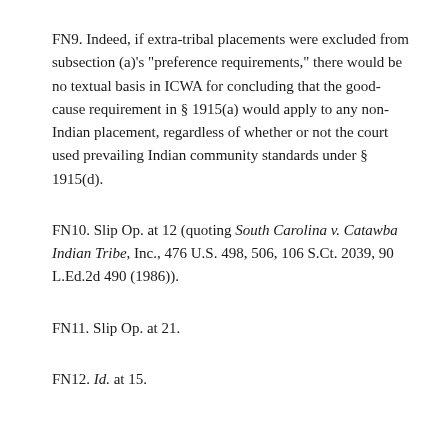FN9. Indeed, if extra-tribal placements were excluded from subsection (a)'s "preference requirements," there would be no textual basis in ICWA for concluding that the good-cause requirement in § 1915(a) would apply to any non-Indian placement, regardless of whether or not the court used prevailing Indian community standards under § 1915(d).
FN10. Slip Op. at 12 (quoting South Carolina v. Catawba Indian Tribe, Inc., 476 U.S. 498, 506, 106 S.Ct. 2039, 90 L.Ed.2d 490 (1986)).
FN11. Slip Op. at 21.
FN12. Id. at 15.